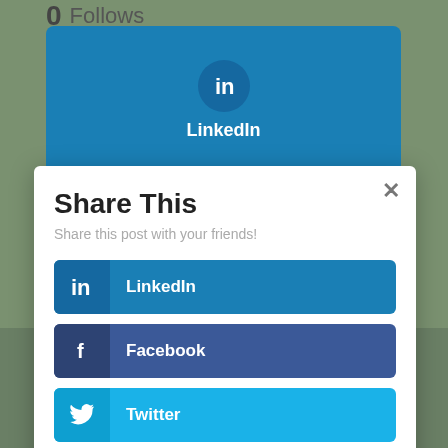0 Follows
[Figure (screenshot): LinkedIn share button card with LinkedIn icon in circle, label LinkedIn, blue background]
[Figure (screenshot): Facebook share button card partially visible, blue/indigo background]
Share This
Share this post with your friends!
LinkedIn
Facebook
Twitter
Gmail